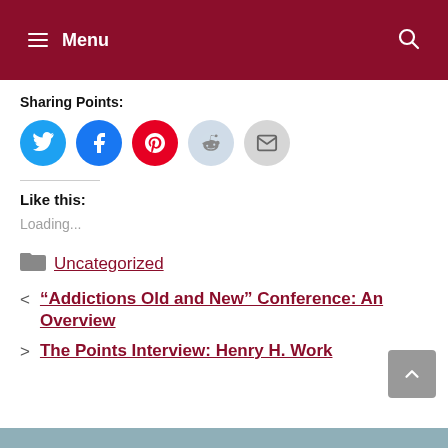Menu
Sharing Points:
[Figure (infographic): Row of five social sharing icon buttons: Twitter (blue), Facebook (dark blue), Pinterest (red), Reddit (light blue), Email (gray)]
Like this:
Loading...
Uncategorized
"Addictions Old and New" Conference: An Overview
The Points Interview: Henry H. Work